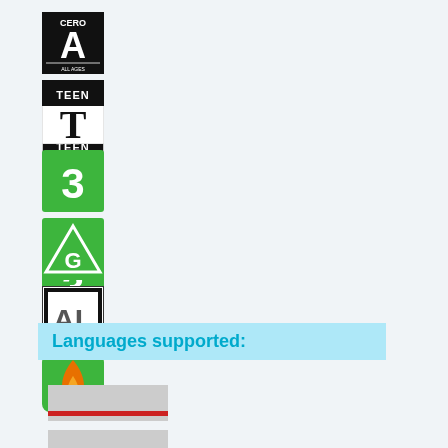[Figure (logo): CERO A rating icon - black and white square logo with 'CERO' text and large 'A' letter]
[Figure (logo): ESRB Teen rating icon - black and white square with 'TEEN' text and 'T' letter]
[Figure (logo): PEGI 3 rating icon - green square with white number '3']
[Figure (logo): G rating icon - green square with white triangle and 'G' letter inside]
[Figure (logo): AL rating icon - black and white square with 'A' and 'L' letters]
[Figure (logo): Rating icon with orange flame on green background]
Languages supported:
[Figure (illustration): Language flag icons showing country flags]
[Figure (illustration): Second language flag icon]